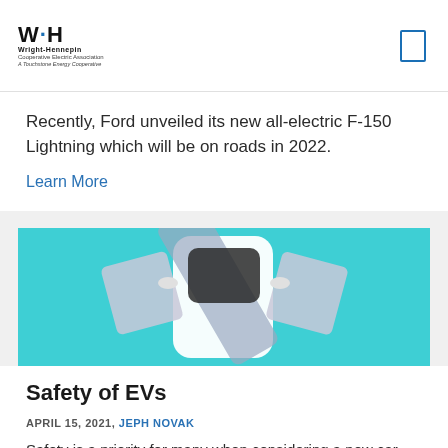[Figure (logo): Wright-Hennepin logo with W·H mark and tagline 'A Touchstone Energy Cooperative']
Recently, Ford unveiled its new all-electric F-150 Lightning which will be on roads in 2022.
Learn More
[Figure (photo): Overhead view of a white electric vehicle with open doors against a teal/cyan background, with a seatbelt graphic overlay]
Safety of EVs
APRIL 15, 2021, JEPH NOVAK
Safety is a priority for many when considering a new car. As electric vehicles (EVs) gain